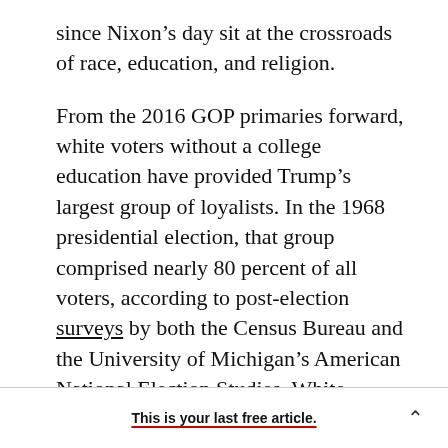since Nixon's day sit at the crossroads of race, education, and religion.

From the 2016 GOP primaries forward, white voters without a college education have provided Trump's largest group of loyalists. In the 1968 presidential election, that group comprised nearly 80 percent of all voters, according to post-election surveys by both the Census Bureau and the University of Michigan's American National Election Studies. White Americans holding at least a four-year college degree represented about 15 percent of voters, with nonwhite Americans, almost
This is your last free article.